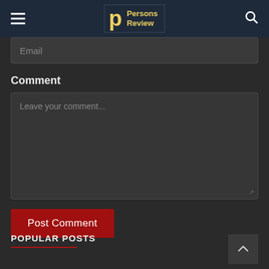Persons Review
Email
Comment
Leave your comment...
Post Comment
POPULAR POSTS